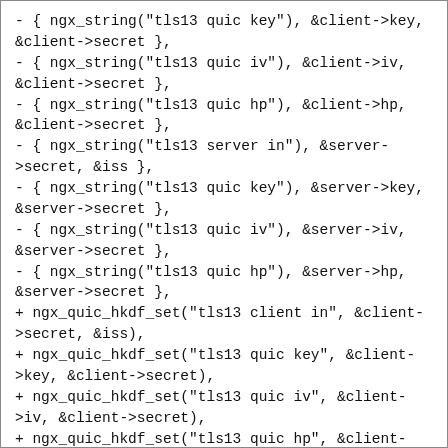- { ngx_string("tls13 quic key"), &client->key, &client->secret },
- { ngx_string("tls13 quic iv"), &client->iv, &client->secret },
- { ngx_string("tls13 quic hp"), &client->hp, &client->secret },
- { ngx_string("tls13 server in"), &server->secret, &iss },
- { ngx_string("tls13 quic key"), &server->key, &server->secret },
- { ngx_string("tls13 quic iv"), &server->iv, &server->secret },
- { ngx_string("tls13 quic hp"), &server->hp, &server->secret },
+ ngx_quic_hkdf_set("tls13 client in", &client->secret, &iss),
+ ngx_quic_hkdf_set("tls13 quic key", &client->key, &client->secret),
+ ngx_quic_hkdf_set("tls13 quic iv", &client->iv, &client->secret),
+ ngx_quic_hkdf_set("tls13 quic hp", &client->hp, &client->secret),
+ ngx_quic_hkdf_set("tls13 server in", &server->secret, &iss),
+ ngx_quic_hkdf_set("tls13 quic key", &server->key, &server->secret),